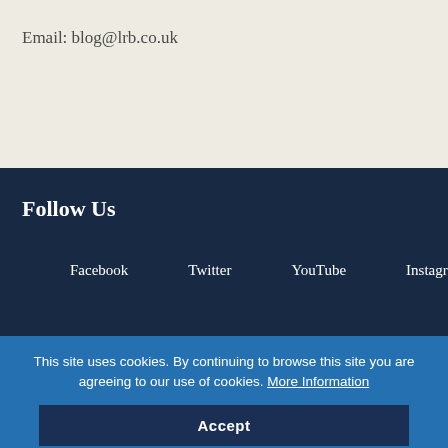Email: blog@lrb.co.uk
Follow Us
Facebook
Twitter
YouTube
Instagram
This site uses cookies. By continuing to browse this site you are agreeing to our use of cookies. More Information
Accept